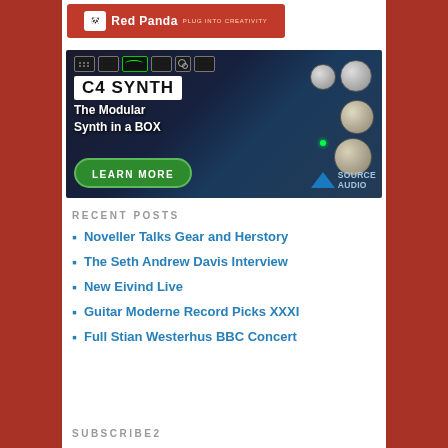[Figure (logo): Red Panda logo banner — red background with white text 'Red Panda' and tagline 'Plug into Creativity']
[Figure (photo): Source Audio C4 Synth advertisement — dark blue background showing the C4 Synth pedal with knobs and controls. Text reads 'C4 SYNTH', 'The Modular Synth in a BOX', 'LEARN MORE', and 'SOURCE AUDIO' logo.]
RECENT POSTS
Noveller Talks Gear and Herstory
The Seth Andrew Davis Interview
New Eivind Live
Guitar Moderne Record Picks XXXI
Full Stian Westerhus BBC Concert
SUBSCRIBE2